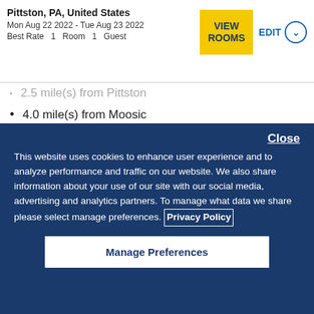Pittston, PA, United States
Mon Aug 22 2022 - Tue Aug 23 2022
Best Rate  1  Room  1  Guest
2.5 mile(s) from Pittston
4.0 mile(s) from Moosic
6.0 mile(s) from Dunmore
30.0 mile(s) from Hazleton
60.0 mile(s) from Binghamton, New York
120.0 mile(s) from Syracuse, New York
Close
This website uses cookies to enhance user experience and to analyze performance and traffic on our website. We also share information about your use of our site with our social media, advertising and analytics partners. To manage what data we share please select manage preferences. Privacy Policy
Manage Preferences